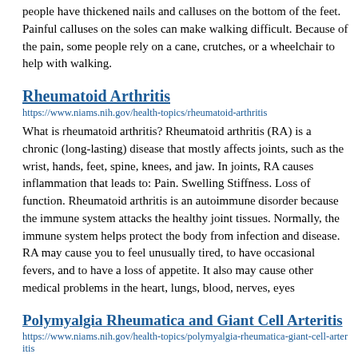people have thickened nails and calluses on the bottom of the feet. Painful calluses on the soles can make walking difficult. Because of the pain, some people rely on a cane, crutches, or a wheelchair to help with walking.
Rheumatoid Arthritis
https://www.niams.nih.gov/health-topics/rheumatoid-arthritis
What is rheumatoid arthritis? Rheumatoid arthritis (RA) is a chronic (long-lasting) disease that mostly affects joints, such as the wrist, hands, feet, spine, knees, and jaw. In joints, RA causes inflammation that leads to: Pain. Swelling Stiffness. Loss of function. Rheumatoid arthritis is an autoimmune disorder because the immune system attacks the healthy joint tissues. Normally, the immune system helps protect the body from infection and disease. RA may cause you to feel unusually tired, to have occasional fevers, and to have a loss of appetite. It also may cause other medical problems in the heart, lungs, blood, nerves, eyes
Polymyalgia Rheumatica and Giant Cell Arteritis
https://www.niams.nih.gov/health-topics/polymyalgia-rheumatica-giant-cell-arteritis
What are polymyalgia rheumatica and giant cell arteritis? Polymyalgia rheumatica and giant cell arteritis are closely linked inflammatory